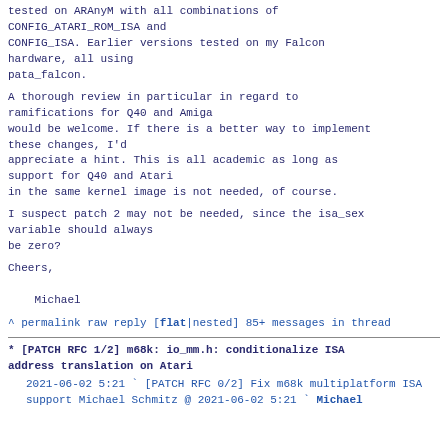tested on ARAnyM with all combinations of
CONFIG_ATARI_ROM_ISA and
CONFIG_ISA. Earlier versions tested on my Falcon
hardware, all using
pata_falcon.
A thorough review in particular in regard to
ramifications for Q40 and Amiga
would be welcome. If there is a better way to implement
these changes, I'd
appreciate a hint. This is all academic as long as
support for Q40 and Atari
in the same kernel image is not needed, of course.
I suspect patch 2 may not be needed, since the isa_sex
variable should always
be zero?
Cheers,

    Michael
^ permalink raw reply   [flat|nested] 85+ messages in
thread
* [PATCH RFC 1/2] m68k: io_mm.h: conditionalize ISA address translation on Atari
2021-06-02  5:21                           ` [PATCH RFC 0/2]
Fix m68k multiplatform ISA support Michael Schmitz
@ 2021-06-02  5:21                           ` Michael